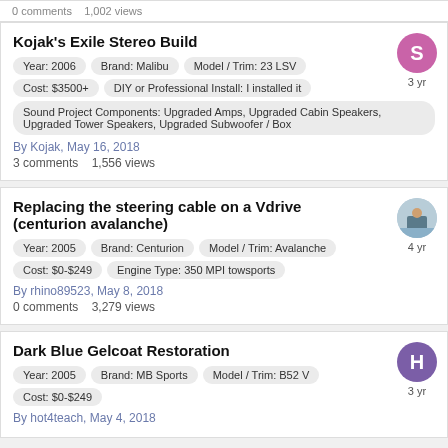0 comments   1,002 views
Kojak's Exile Stereo Build
Year: 2006   Brand: Malibu   Model / Trim: 23 LSV
Cost: $3500+   DIY or Professional Install: I installed it
Sound Project Components: Upgraded Amps, Upgraded Cabin Speakers, Upgraded Tower Speakers, Upgraded Subwoofer / Box
By Kojak, May 16, 2018
3 comments   1,556 views
Replacing the steering cable on a Vdrive (centurion avalanche)
Year: 2005   Brand: Centurion   Model / Trim: Avalanche
Cost: $0-$249   Engine Type: 350 MPI towsports
By rhino89523, May 8, 2018
0 comments   3,279 views
Dark Blue Gelcoat Restoration
Year: 2005   Brand: MB Sports   Model / Trim: B52 V
Cost: $0-$249
By hot4teach, May 4, 2018